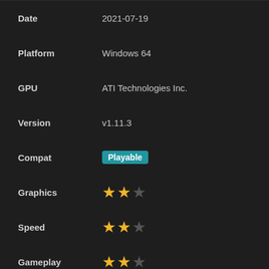| Date | 2021-07-19 |
| Platform | Windows 64 |
| GPU | ATI Technologies Inc. |
| Version | v1.11.3 |
| Compat | Playable |
| Graphics | ★★☆ |
| Speed | ★★☆ |
| Gameplay | ★★☆ |
IR Jit
Force Max FPS Off
Skip Buffer Effects
2x PSP Res
Auto Texture Scaling
CRC 4983c2e2
| Date | 2021-07-04 |
| Platform | Android |